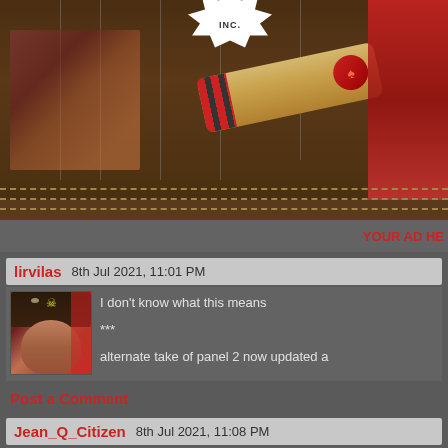[Figure (illustration): Comic banner image with cartoon pirate/action characters, a large cannon or weapon, wooden fence background with rain, and a character in red. Shows partial 'INC.' logo badge.]
YOUR AD HE
lirvilas   8th Jul 2021, 11:01 PM
[Figure (illustration): Avatar of a cartoon character — a male figure with a pirate-style skull and crossbones hat, brown skin, serious expression, graffiti/tattoo styled art.]
I don't know what this means

***

alternate take of panel 2 now updated a
Post a Comment
Jean_Q_Citizen   8th Jul 2021, 11:08 PM
Third panel: Bucket of pig's blood dro